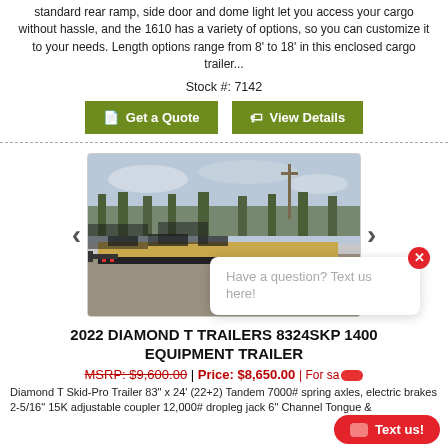standard rear ramp, side door and dome light let you access your cargo without hassle, and the 1610 has a variety of options, so you can customize it to your needs. Length options range from 8' to 18' in this enclosed cargo trailer...
Stock #: 7142
Get a Quote
View Details
[Figure (photo): A flat-deck equipment trailer (2022 Diamond T Trailers 8324SKP 1400) parked outdoors with trees in the background. Multiple similar trailers visible behind it.]
Have a question? Text us here!
2022 DIAMOND T TRAILERS 8324SKP 1400 EQUIPMENT TRAILER
MSRP: $9,600.00 | Price: $8,650.00 | For sa...
Diamond T Skid-Pro Trailer 83" x 24' (22+2) Tandem 7000# spring axles, electric brakes 2-5/16" 15K adjustable coupler 12,000# dropleg jack 6" Channel Tongue &